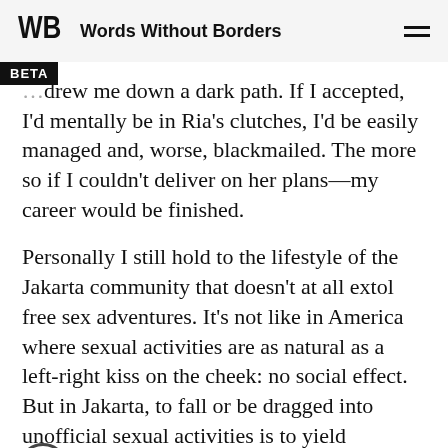Words Without Borders
…drew me down a dark path. If I accepted, I'd mentally be in Ria's clutches, I'd be easily managed and, worse, blackmailed. The more so if I couldn't deliver on her plans—my career would be finished.
Personally I still hold to the lifestyle of the Jakarta community that doesn't at all extol free sex adventures. It's not like in America where sexual activities are as natural as a left-right kiss on the cheek: no social effect. But in Jakarta, to fall or be dragged into unofficial sexual activities is to yield oneself up as a target for blackmail from certain quarters, or become an object of public ridicule. That...